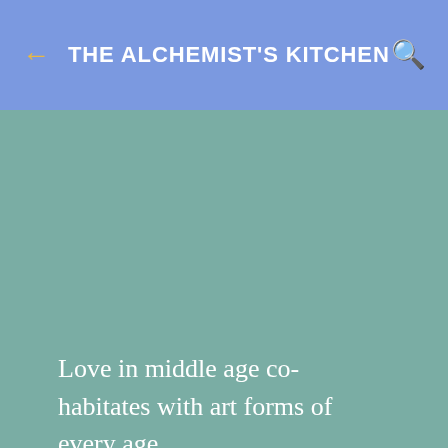THE ALCHEMIST'S KITCHEN
Love in middle age co-habitates with art forms of every age.